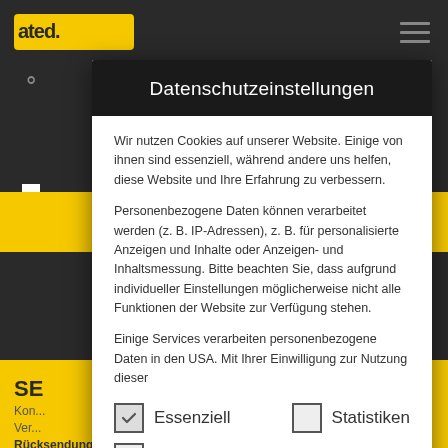[Figure (screenshot): Website background with dark overlay, yellow logo top-left, hamburger menu top-right, search and cart icons, yellow banner in middle, yellow footer area with SE text and navigation links, up-arrow button bottom-right]
Datenschutzeinstellungen
Wir nutzen Cookies auf unserer Website. Einige von ihnen sind essenziell, während andere uns helfen, diese Website und Ihre Erfahrung zu verbessern.
Personenbezogene Daten können verarbeitet werden (z. B. IP-Adressen), z. B. für personalisierte Anzeigen und Inhalte oder Anzeigen- und Inhaltsmessung. Bitte beachten Sie, dass aufgrund individueller Einstellungen möglicherweise nicht alle Funktionen der Website zur Verfügung stehen.
Einige Services verarbeiten personenbezogene Daten in den USA. Mit Ihrer Einwilligung zur Nutzung dieser
Essenziell
Statistiken
Externe Medien